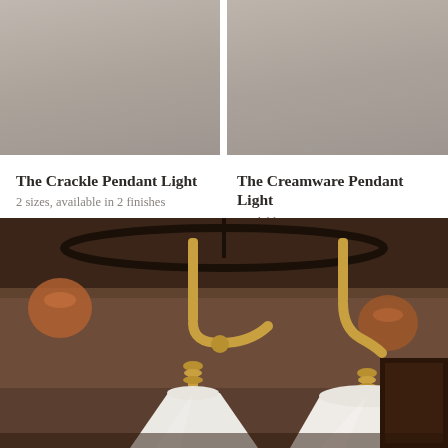[Figure (photo): Top portion of Crackle Pendant Light product photo, warm taupe background]
[Figure (photo): Top portion of Creamware Pendant Light product photo, warm taupe background]
The Crackle Pendant Light
2 sizes, available in 2 finishes
from $355
The Creamware Pendant Light
available in 2 sizes
from $355
[Figure (photo): Close-up photo of two pendant lights with brass fittings and white conical shades hanging in a kitchen with copper pots in the background]